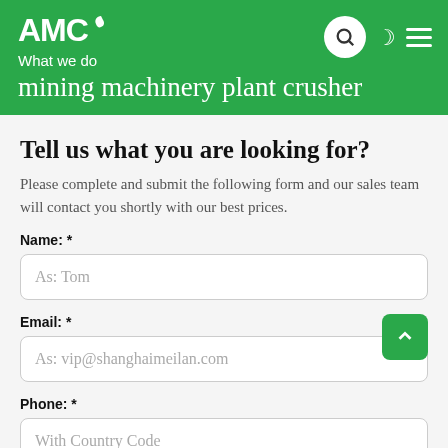AMC
What we do
mining machinery plant crusher
Tell us what you are looking for?
Please complete and submit the following form and our sales team will contact you shortly with our best prices.
Name: *
As: Tom
Email: *
As: vip@shanghaimeilan.com
Phone: *
With Country Code